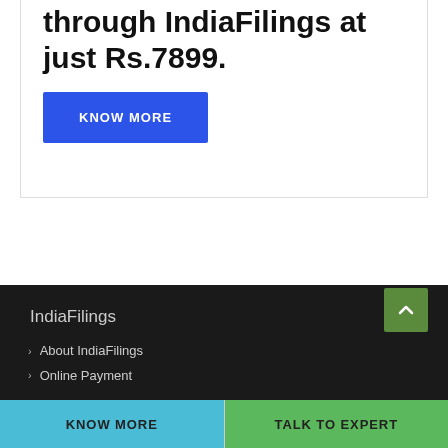through IndiaFilings at just Rs.7899.
KNOW MORE
IndiaFilings
About IndiaFilings
Online Payment
KNOW MORE
TALK TO EXPERT